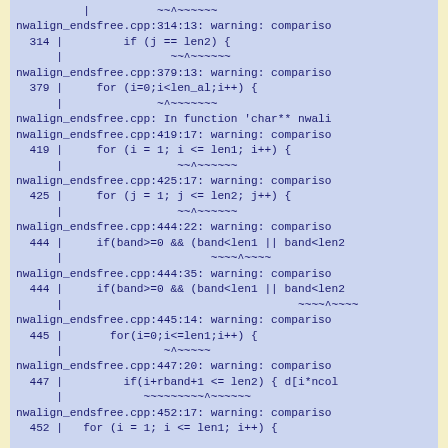Compiler warning output from nwalign_endsfree.cpp showing comparison warnings at lines 314, 379, 419, 425, 444, 445, 447, 452